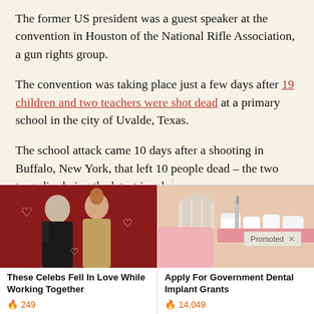The former US president was a guest speaker at the convention in Houston of the National Rifle Association, a gun rights group.
The convention was taking place just a few days after 19 children and two teachers were shot dead at a primary school in the city of Uvalde, Texas.
The school attack came 10 days after a shooting in Buffalo, New York, that left 10 people dead – the two tragedies being the latest in a lo[ng series of mass]
[Figure (photo): Advertisement: Two celebrities (a man in a tuxedo and a woman in a glamorous outfit) on a red background with heart doodles. Caption: These Celebs Fell In Love While Working Together. 249 upvotes.]
[Figure (photo): Advertisement: Close-up of a dental procedure on teeth. Caption: Apply For Government Dental Implant Grants. 14,049 upvotes.]